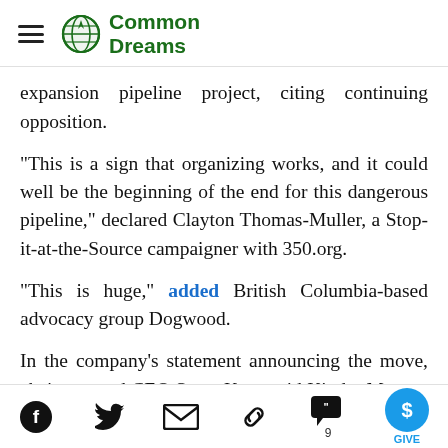Common Dreams
expansion pipeline project, citing continuing opposition.
"This is a sign that organizing works, and it could well be the beginning of the end for this dangerous pipeline," declared Clayton Thomas-Muller, a Stop-it-at-the-Source campaigner with 350.org.
"This is huge," added British Columbia-based advocacy group Dogwood.
In the company's statement announcing the move, chairman and CEO Steve Kean said Kinder Morgan was suspending "all non-essential activities and related spending" as a result of the "current environment" that
Social share icons: Facebook, Twitter, Email, Link, Comments (9), Give